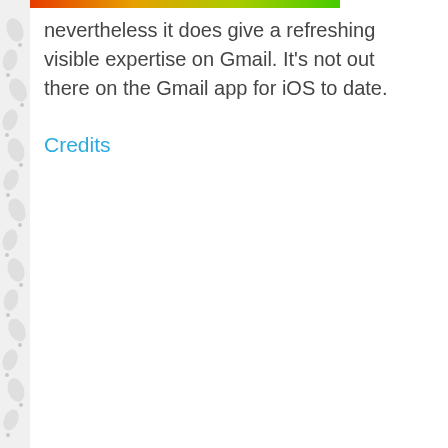nevertheless it does give a refreshing visible expertise on Gmail. It's not out there on the Gmail app for iOS to date.
Credits